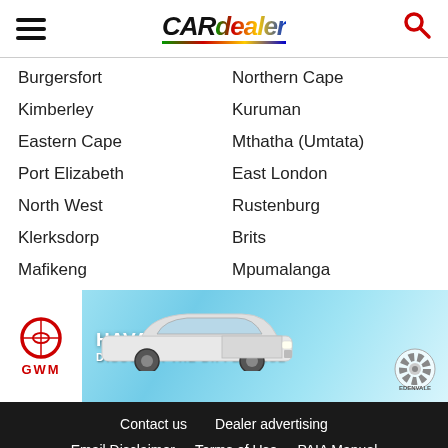CARdealer
Burgersfort
Northern Cape
Kimberley
Kuruman
Eastern Cape
Mthatha (Umtata)
Port Elizabeth
East London
North West
Rustenburg
Klerksdorp
Brits
Mafikeng
Mpumalanga
[Figure (photo): GWM Haval Edenvale advertisement banner showing a white pickup truck on a light blue textured background with text HAVAL EDENVALE DISCOVER THE DIFFERENCE and GWM logo]
Contact us | Dealer advertising | Email Disclaimer | Terms of Use | PAIA Manual | Support | Cars For Sale by Owner